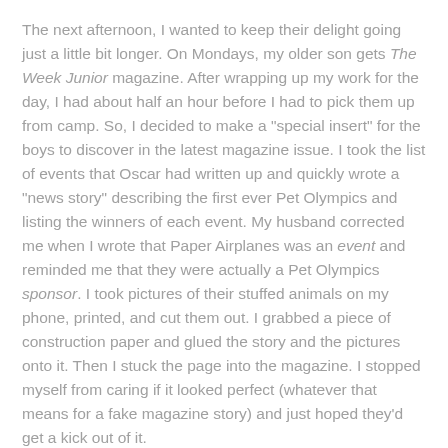The next afternoon, I wanted to keep their delight going just a little bit longer. On Mondays, my older son gets The Week Junior magazine. After wrapping up my work for the day, I had about half an hour before I had to pick them up from camp. So, I decided to make a "special insert" for the boys to discover in the latest magazine issue. I took the list of events that Oscar had written up and quickly wrote a "news story" describing the first ever Pet Olympics and listing the winners of each event. My husband corrected me when I wrote that Paper Airplanes was an event and reminded me that they were actually a Pet Olympics sponsor. I took pictures of their stuffed animals on my phone, printed, and cut them out. I grabbed a piece of construction paper and glued the story and the pictures onto it. Then I stuck the page into the magazine. I stopped myself from caring if it looked perfect (whatever that means for a fake magazine story) and just hoped they'd get a kick out of it.